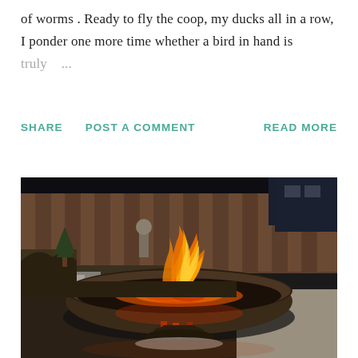of worms . Ready to fly the coop, my ducks all in a row, I ponder one more time whether a bird in hand is truly ...
SHARE   POST A COMMENT   READ MORE
[Figure (photo): Outdoor fire pit bowl with burning flames, set in a backyard with a wooden fence, small garden statue, snow patches, and a concrete sidewalk.]